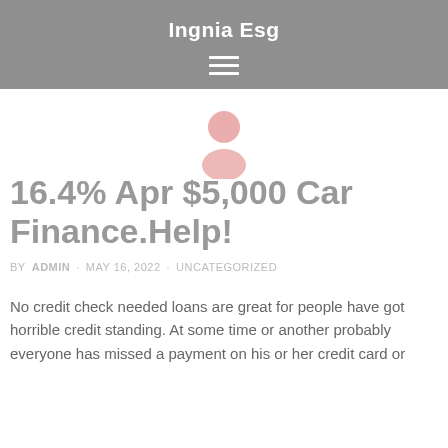Ingnia Esg
16.4% Apr $5,000 Car Finance.Help!
BY ADMIN · MAY 16, 2022 · UNCATEGORIZED
No credit check needed loans are great for people have got horrible credit standing. At some time or another probably everyone has missed a payment on his or her credit card or